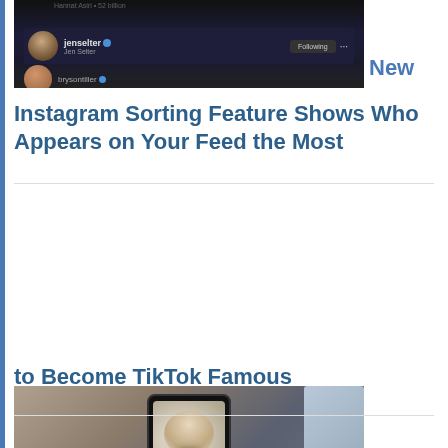[Figure (screenshot): Instagram app screenshot showing jenselter profile row with Following button]
New Instagram Sorting Feature Shows Who Appears on Your Feed the Most
[Figure (photo): Hand holding smartphone with camera lens attachment, recording video with red record button visible]
12 Ways to Become TikTok Famous
[Figure (photo): Tablet showing Instagram feed with multiple photo thumbnails]